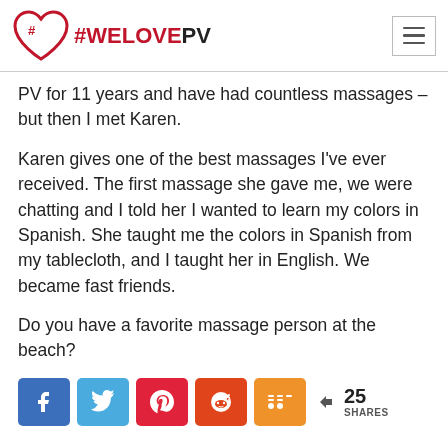#WELOVEPV
PV for 11 years and have had countless massages – but then I met Karen.
Karen gives one of the best massages I've ever received.  The first massage she gave me, we were chatting and I told her I wanted to learn my colors in Spanish.  She taught me the colors in Spanish from my tablecloth, and I taught her in English.  We became fast friends.
Do you have a favorite massage person at the beach?
[Figure (infographic): Social share buttons row: Facebook (blue), Twitter (light blue), Pinterest (red), Reddit (orange-red), Mix (orange), and a share count showing < 25 SHARES]